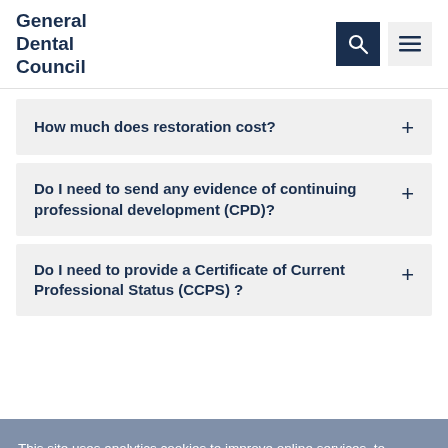General Dental Council
How much does restoration cost?
Do I need to send any evidence of continuing professional development (CPD)?
This site uses analytics cookies to improve online services, to provide features on social media and provide you with a secure and optimal user experience. Learn more about cookies
Do I need to provide a Certificate of Current Professional Status (CCPS) ?
Do I need to demonstrate evidence of knowledge of the English Language?